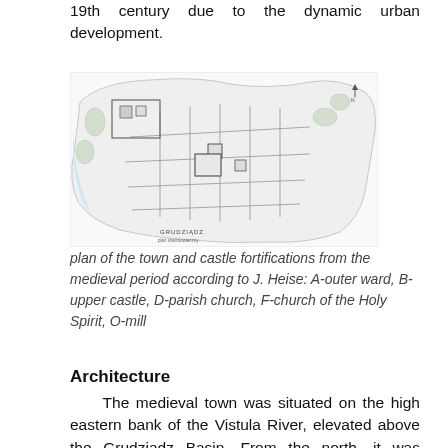19th century due to the dynamic urban development.
[Figure (map): Plan of the town and castle fortifications from the medieval period, showing streets, buildings, and castle layout. Label 'GRUDZIADZ' visible at bottom.]
plan of the town and castle fortifications from the medieval period according to J. Heise: A-outer ward, B-upper castle, D-parish church, F-church of the Holy Spirit, O-mill
Architecture
The medieval town was situated on the high eastern bank of the Vistula River, elevated above the Grudziądz Basin. From the north, it was adjacent to the hill occupied by the Teutonic Knights castle, while on the eastern side of the town, the area lowered, creating vast, wet